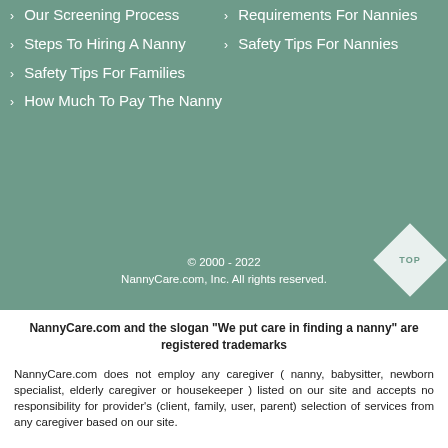› Our Screening Process
› Requirements For Nannies
› Steps To Hiring A Nanny
› Safety Tips For Nannies
› Safety Tips For Families
› How Much To Pay The Nanny
© 2000 - 2022
NannyCare.com, Inc. All rights reserved.
NannyCare.com and the slogan "We put care in finding a nanny" are registered trademarks
NannyCare.com does not employ any caregiver ( nanny, babysitter, newborn specialist, elderly caregiver or housekeeper ) listed on our site and accepts no responsibility for provider's (client, family, user, parent) selection of services from any caregiver based on our site.